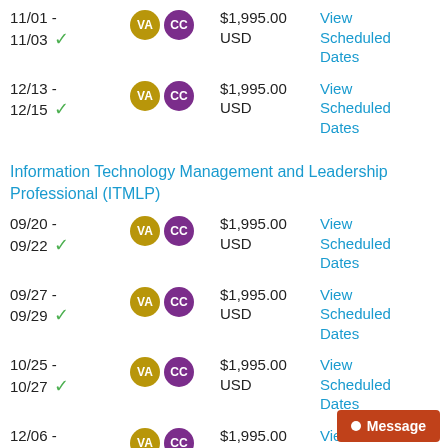11/01 - 11/03 ✓   VA CC   $1,995.00 USD   View Scheduled Dates
12/13 - 12/15 ✓   VA CC   $1,995.00 USD   View Scheduled Dates
Information Technology Management and Leadership Professional (ITMLP)
09/20 - 09/22 ✓   VA CC   $1,995.00 USD   View Scheduled Dates
09/27 - 09/29 ✓   VA CC   $1,995.00 USD   View Scheduled Dates
10/25 - 10/27 ✓   VA CC   $1,995.00 USD   View Scheduled Dates
12/06 -   VA CC   $1,995.00 USD   View Scheduled Dates